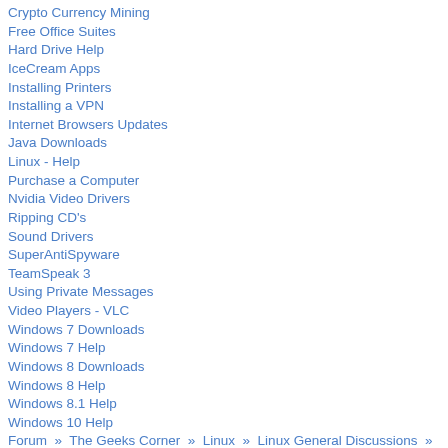Crypto Currency Mining
Free Office Suites
Hard Drive Help
IceCream Apps
Installing Printers
Installing a VPN
Internet Browsers Updates
Java Downloads
Linux - Help
Purchase a Computer
Nvidia Video Drivers
Ripping CD's
Sound Drivers
SuperAntiSpyware
TeamSpeak 3
Using Private Messages
Video Players - VLC
Windows 7 Downloads
Windows 7 Help
Windows 8 Downloads
Windows 8 Help
Windows 8.1 Help
Windows 10 Help
Forum » The Geeks Corner » Linux » Linux General Discussions » Hardinfo - System Profiler and Benchmark